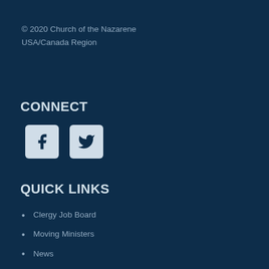© 2020 Church of the Nazarene USA/Canada Region
CONNECT
[Figure (illustration): Facebook and Twitter social media icons, white symbols on light blue/gray rounded square backgrounds]
QUICK LINKS
Clergy Job Board
Moving Ministers
News
Privacy Policy
Grace & Peace Magazine